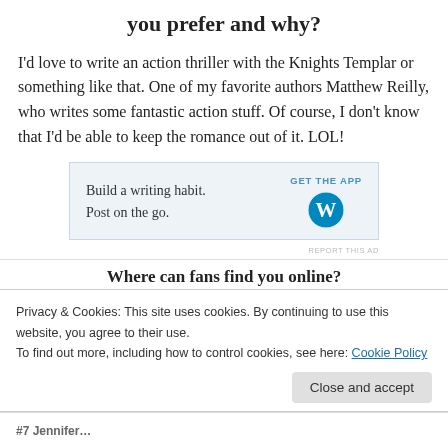you prefer and why?
I'd love to write an action thriller with the Knights Templar or something like that. One of my favorite authors Matthew Reilly, who writes some fantastic action stuff. Of course, I don't know that I'd be able to keep the romance out of it. LOL!
[Figure (other): WordPress app advertisement banner: 'Build a writing habit. Post on the go.' with GET THE APP button and WordPress logo]
REPORT THIS AD
Where can fans find you online?
Privacy & Cookies: This site uses cookies. By continuing to use this website, you agree to their use.
To find out more, including how to control cookies, see here: Cookie Policy
Close and accept